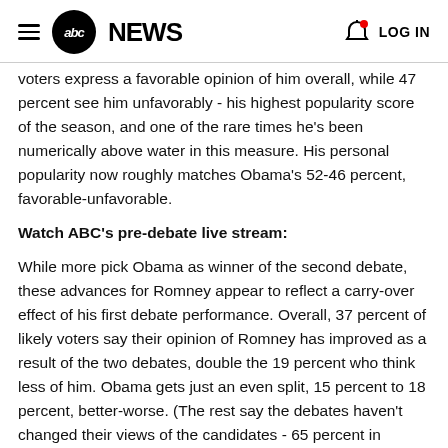abc NEWS   LOG IN
voters express a favorable opinion of him overall, while 47 percent see him unfavorably - his highest popularity score of the season, and one of the rare times he's been numerically above water in this measure. His personal popularity now roughly matches Obama's 52-46 percent, favorable-unfavorable.
Watch ABC's pre-debate live stream:
While more pick Obama as winner of the second debate, these advances for Romney appear to reflect a carry-over effect of his first debate performance. Overall, 37 percent of likely voters say their opinion of Romney has improved as a result of the two debates, double the 19 percent who think less of him. Obama gets just an even split, 15 percent to 18 percent, better-worse. (The rest say the debates haven't changed their views of the candidates - 65 percent in Obama's case, 43 percent in Romney's).